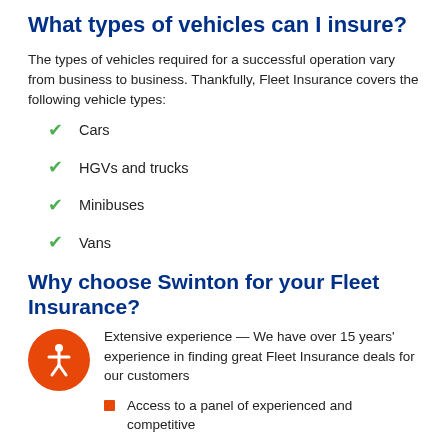What types of vehicles can I insure?
The types of vehicles required for a successful operation vary from business to business. Thankfully, Fleet Insurance covers the following vehicle types:
Cars
HGVs and trucks
Minibuses
Vans
Why choose Swinton for your Fleet Insurance?
[Figure (illustration): Orange circular accessibility icon with a person figure in white]
Extensive experience — We have over 15 years' experience in finding great Fleet Insurance deals for our customers
Access to a panel of experienced and competitive